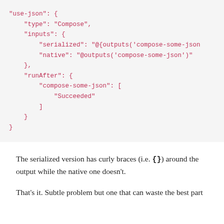"use-json": {
    "type": "Compose",
    "inputs": {
        "serialized": "@{outputs('compose-some-json
        "native": "@outputs('compose-some-json')"
    },
    "runAfter": {
        "compose-some-json": [
            "Succeeded"
        ]
    }
}
The serialized version has curly braces (i.e. {}) around the output while the native one doesn't.
That's it. Subtle problem but one that can waste the best part